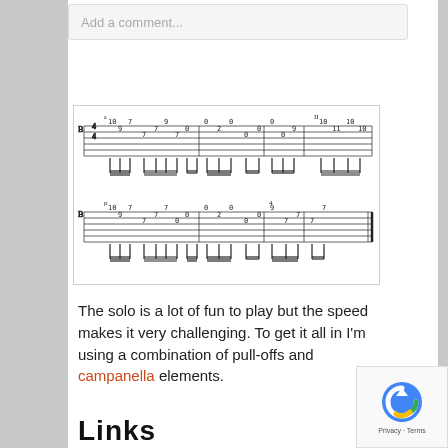Add a comment...
[Figure (illustration): Guitar tablature notation showing two lines of tab staff with numbers indicating fret positions on a 6-string guitar. First line shows notes: 10 9 7, 7 7 9 7 0, 0 2 0, 0 0, 0 0, 9 11, 10 10. Second line shows: 10 9 7, 7 7 7 0 0, 0 2 0, 0 0, 4, 9 7 7 7. Time signature 4/4, with position markers including 'II' and fingering indicators.]
The solo is a lot of fun to play but the speed makes it very challenging. To get it all in I'm using a combination of pull-offs and campanella elements.
Links
[Figure (logo): reCAPTCHA logo with Privacy · Terms text]